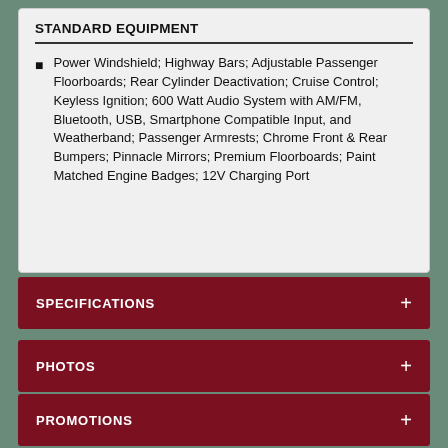STANDARD EQUIPMENT
Power Windshield; Highway Bars; Adjustable Passenger Floorboards; Rear Cylinder Deactivation; Cruise Control; Keyless Ignition; 600 Watt Audio System with AM/FM, Bluetooth, USB, Smartphone Compatible Input, and Weatherband; Passenger Armrests; Chrome Front & Rear Bumpers; Pinnacle Mirrors; Premium Floorboards; Paint Matched Engine Badges; 12V Charging Port
SPECIFICATIONS
PHOTOS
PROMOTIONS